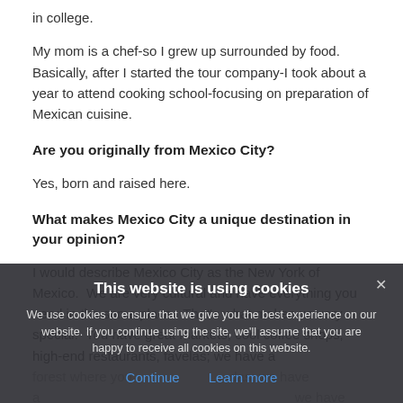in college.
My mom is a chef-so I grew up surrounded by food. Basically, after I started the tour company-I took about a year to attend cooking school-focusing on preparation of Mexican cuisine.
Are you originally from Mexico City?
Yes, born and raised here.
What makes Mexico City a unique destination in your opinion?
I would describe Mexico City as the New York of Mexico. We are very cultural and have everything you need in the same place. That's what makes us very special. You have great markets, cool coffee shops, high-end restaurants, favelas; we have a forest where you… [cookie banner overlaps] …we have a We have stuff for every budget. If you want to spend a lot of
This website is using cookies
We use cookies to ensure that we give you the best experience on our website. If you continue using the site, we'll assume that you are happy to receive all cookies on this website.
Continue    Learn more